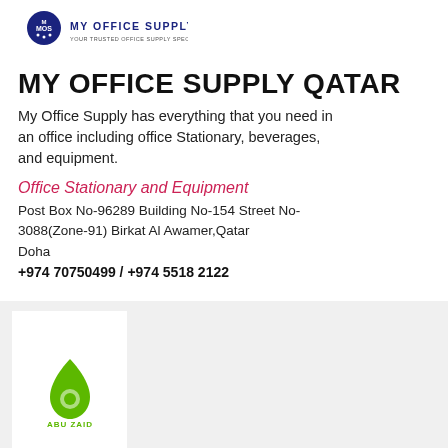[Figure (logo): My Office Supply logo — circular dark blue badge with 'MOS' text, below it 'MY OFFICE SUPPLY' in dark blue capitals and tagline 'YOUR TRUSTED OFFICE SUPPLY SPECIALIST']
MY OFFICE SUPPLY QATAR
My Office Supply has everything that you need in an office including office Stationary, beverages, and equipment.
Office Stationary and Equipment
Post Box No-96289 Building No-154 Street No-3088(Zone-91) Birkat Al Awamer,Qatar
Doha
+974 70750499 / +974 5518 2122
[Figure (logo): Abu Zaid Services logo — green droplet/leaf icon above text 'ABU ZAID' and 'SERVICES']
Abu Zaid Services